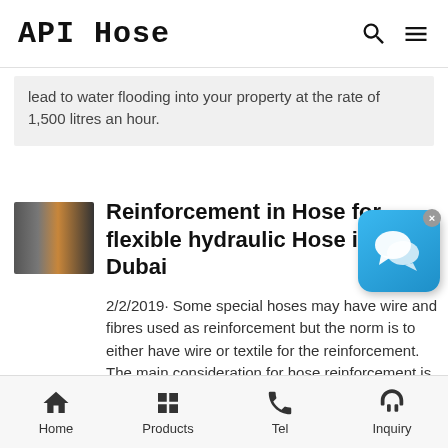API Hose
lead to water flooding into your property at the rate of 1,500 litres an hour.
[Figure (photo): Thumbnail photo of a hose in an industrial corridor/tunnel setting]
Reinforcement in Hose for flexible hydraulic Hose in Dubai
2/2/2019· Some special hoses may have wire and fibres used as reinforcement but the norm is to either have wire or textile for the reinforcement. The main consideration for hose reinforcement is the working pressure rating of the hydraulic hose and this is the defining criteria for how a hose is constructed. One factor is the
[Figure (other): Blue chat/messaging app widget icon with close button]
Home | Products | Tel | Inquiry